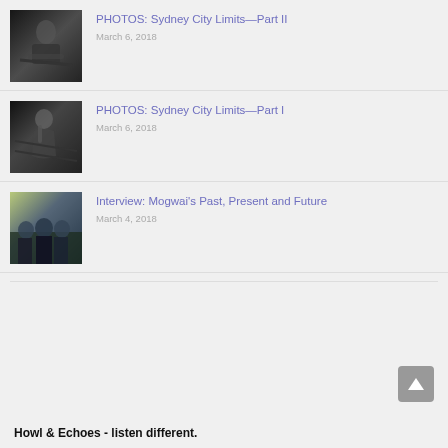[Figure (photo): Black and white photo of a guitarist with long curly hair performing on stage]
PHOTOS: Sydney City Limits—Part II
March 6, 2018
[Figure (photo): Black and white photo of a female singer with long hair performing on stage with microphone]
PHOTOS: Sydney City Limits—Part I
March 6, 2018
[Figure (photo): Color photo of a band group of people standing in front of a wall]
Interview: Mogwai’s Past, Present and Future
March 4, 2018
Howl & Echoes - listen different.